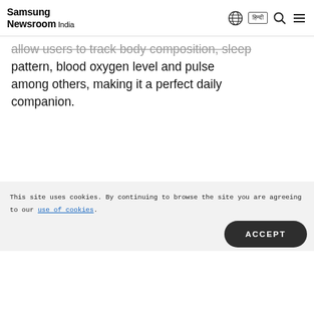Samsung Newsroom India
allow users to track body composition, sleep pattern, blood oxygen level and pulse among others, making it a perfect daily companion.
Customers pre-booking Galaxy S22+ and Galaxy S22 will get Galaxy Buds2 worth INR 11999 at INR 999
This site uses cookies. By continuing to browse the site you are agreeing to our use of cookies.
ACCEPT